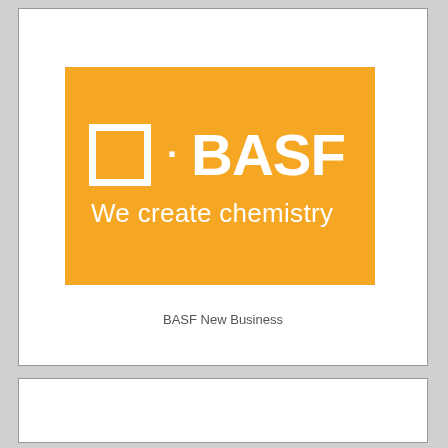[Figure (logo): BASF logo on orange background with tagline 'We create chemistry']
BASF New Business